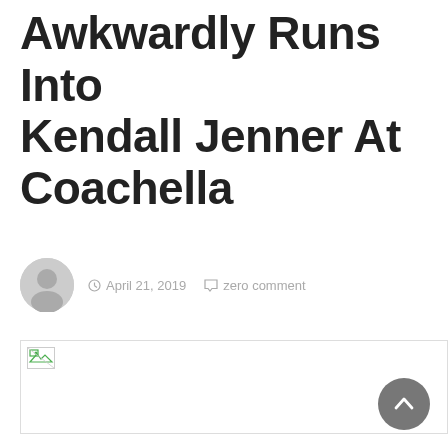Awkwardly Runs Into Kendall Jenner At Coachella
April 21, 2019  zero comment
[Figure (photo): Broken image placeholder for article photo]
[Figure (other): Back to top button arrow]